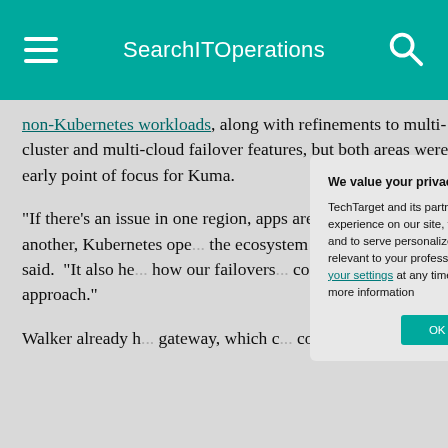SearchITOperations
non-Kubernetes workloads, along with refinements to multi-cluster and multi-cloud failover features, but both areas were an early point of focus for Kuma.

"If there's an issue in one region, apps are able to fail over to another, Kubernetes ope... the ecosystem a... routed, to autom... said. "It also he... how our failovers... code, we're able... approach."

Walker already h... gateway, which c... controller under
We value your privacy.
TechTarget and its partners employ cookies to improve your experience on our site, to analyze traffic and performance, and to serve personalized content and advertising that are relevant to your professional interests. You can manage your settings at any time. Please view our Privacy Policy for more information